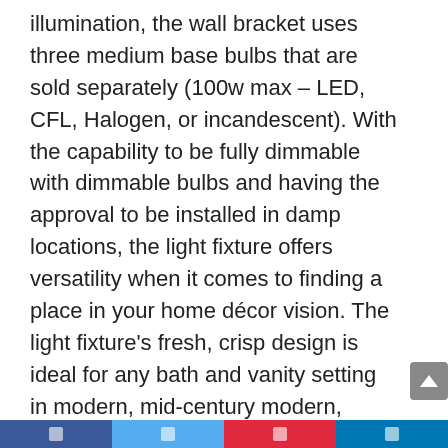illumination, the wall bracket uses three medium base bulbs that are sold separately (100w max – LED, CFL, Halogen, or incandescent). With the capability to be fully dimmable with dimmable bulbs and having the approval to be installed in damp locations, the light fixture offers versatility when it comes to finding a place in your home décor vision. The light fixture's fresh, crisp design is ideal for any bath and vanity setting in modern, mid-century modern, urban industrial, coastal, or vintage electric interiors. Mount the wall bracket facing up or down, around or over a bathroom mirror to banish shadows from your face while getting ready for the day or for a fun evening out. It's time to breathe new life into the mundane every day with timeless and truly transformative bathroom lighting. Make your purchase today to begin your journey to a whole new lighting experience.